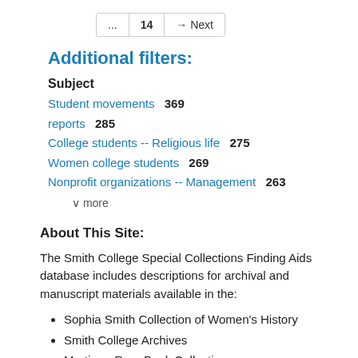... 14 → Next
Additional filters:
Subject
Student movements   369
reports   285
College students -- Religious life   275
Women college students   269
Nonprofit organizations -- Management   263
v more
About This Site:
The Smith College Special Collections Finding Aids database includes descriptions for archival and manuscript materials available in the:
Sophia Smith Collection of Women's History
Smith College Archives
Mortimer Rare Book Collection